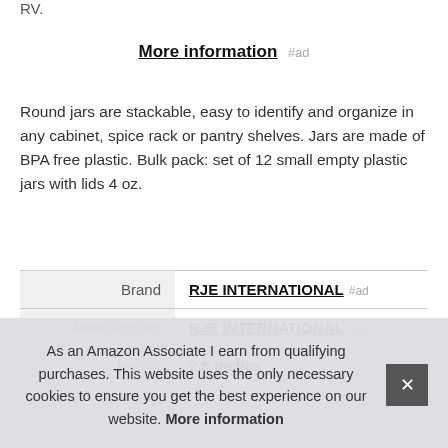RV.
More information #ad
Round jars are stackable, easy to identify and organize in any cabinet, spice rack or pantry shelves. Jars are made of BPA free plastic. Bulk pack: set of 12 small empty plastic jars with lids 4 oz.
|  |  |
| --- | --- |
| Brand | RJE INTERNATIONAL #ad |
| Manufacturer | RJE INTERNATIONAL #ad |
| Height | 2.5 Inches |
| P |  |
As an Amazon Associate I earn from qualifying purchases. This website uses the only necessary cookies to ensure you get the best experience on our website. More information